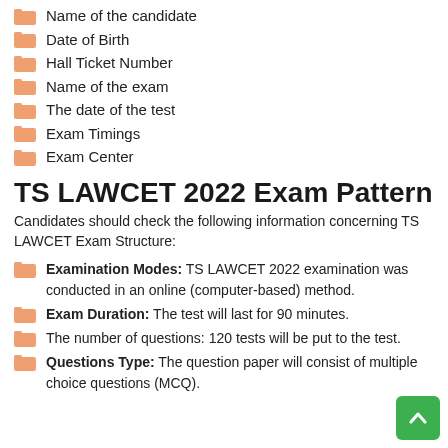Name of the candidate
Date of Birth
Hall Ticket Number
Name of the exam
The date of the test
Exam Timings
Exam Center
TS LAWCET 2022 Exam Pattern
Candidates should check the following information concerning TS LAWCET Exam Structure:
Examination Modes: TS LAWCET 2022 examination was conducted in an online (computer-based) method.
Exam Duration: The test will last for 90 minutes.
The number of questions: 120 tests will be put to the test.
Questions Type: The question paper will consist of multiple choice questions (MCQ).